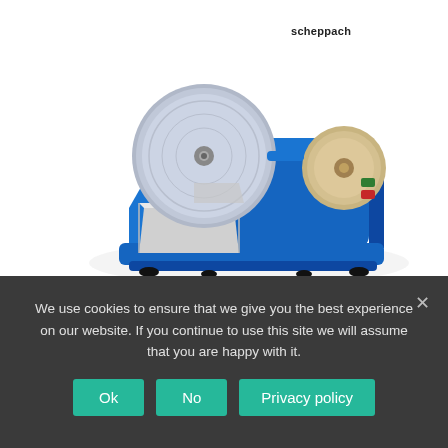[Figure (photo): Product photo of a Scheppach Tiger 2000s electric whetstone sharpening and honing machine. The machine is blue with a large grey circular grinding wheel on the left side, a water tray/reservoir at the front, and a beige honing wheel on the right. It has a green and red start/stop button on the right side. The Scheppach logo is visible on the top right.]
SCHEPPACH, Sharpeners, Woodworking
Tiger 2000s 200mm Electric Whetstone Sharpening & Honing Machine
We use cookies to ensure that we give you the best experience on our website. If you continue to use this site we will assume that you are happy with it.